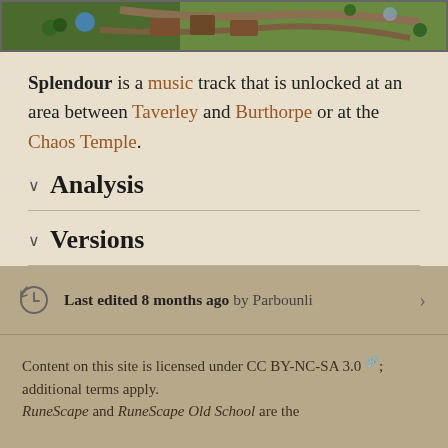[Figure (map): Partial view of a game map showing a green terrain area with paths and structures, appears to be a RuneScape map region between Taverley and Burthorpe.]
Splendour is a music track that is unlocked at an area between Taverley and Burthorpe or at the Chaos Temple.
Analysis
Versions
Last edited 8 months ago by Parbounli
Content on this site is licensed under CC BY-NC-SA 3.0; additional terms apply. RuneScape and RuneScape Old School are the